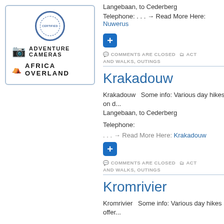[Figure (logo): Certified stamp logo with Adventure Cameras and Africa Overland text and icons]
Langebaan, to Cederberg
Telephone: . . . → Read More Here: Nuwerus
[Figure (other): Blue plus button]
COMMENTS ARE CLOSED   ACT AND WALKS, OUTINGS
Krakadouw
Krakadouw   Some info: Various day hikes on d... Langebaan, to Cederberg
Telephone:
. . . → Read More Here: Krakadouw
[Figure (other): Blue plus button]
COMMENTS ARE CLOSED   ACT AND WALKS, OUTINGS
Kromrivier
Kromrivier   Some info: Various day hikes offer...